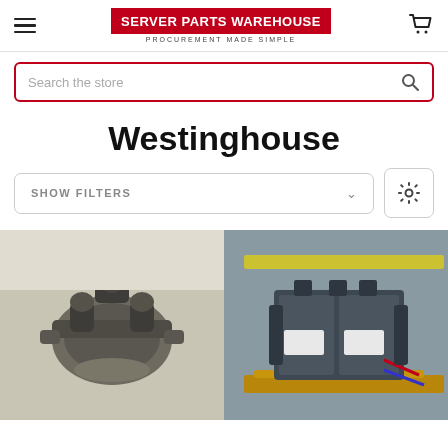SERVER PARTS WAREHOUSE — PROCUREMENT MADE SIMPLE
Search the store
Westinghouse
SHOW FILTERS
[Figure (photo): Photo of a used industrial Westinghouse mechanical brake/clutch assembly, cast iron, dark grey]
[Figure (photo): Photo of a Westinghouse large industrial circuit breaker on a wooden pallet in a warehouse setting]